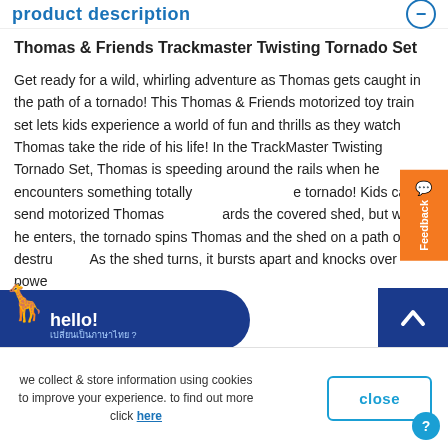product description
Thomas & Friends Trackmaster Twisting Tornado Set
Get ready for a wild, whirling adventure as Thomas gets caught in the path of a tornado! This Thomas & Friends motorized toy train set lets kids experience a world of fun and thrills as they watch Thomas take the ride of his life! In the TrackMaster Twisting Tornado Set, Thomas is speeding around the rails when he encounters something totally unexpected... the tornado! Kids can send motorized Thomas towards the covered shed, but when he enters, the tornado spins Thomas and the shed on a path of destruction! As the shed turns, it bursts apart and knocks over power...
we collect & store information using cookies to improve your experience. to find out more click here